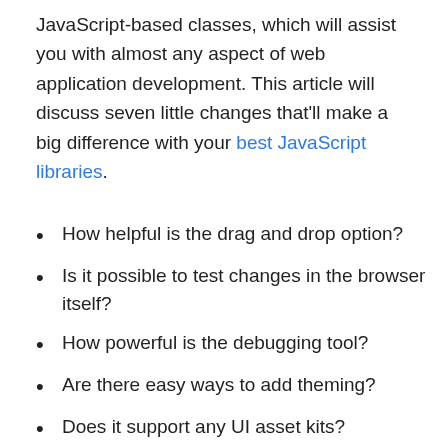JavaScript-based classes, which will assist you with almost any aspect of web application development. This article will discuss seven little changes that'll make a big difference with your best JavaScript libraries.
How helpful is the drag and drop option?
Is it possible to test changes in the browser itself?
How powerful is the debugging tool?
Are there easy ways to add theming?
Does it support any UI asset kits?
Can you add analytics functions to applications?
Can the application be generated in multiple